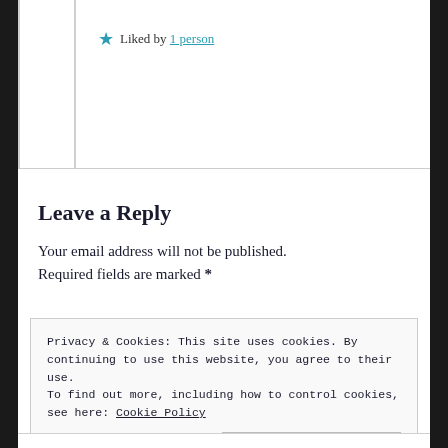★ Liked by 1 person
Leave a Reply
Your email address will not be published. Required fields are marked *
Privacy & Cookies: This site uses cookies. By continuing to use this website, you agree to their use. To find out more, including how to control cookies, see here: Cookie Policy
Close and accept